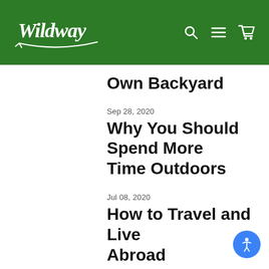Wildway [navigation: search, menu, cart]
Own Backyard
Sep 28, 2020
Why You Should Spend More Time Outdoors
Jul 08, 2020
How to Travel and Live Abroad
Jul 08, 2020
How to Flourish Where